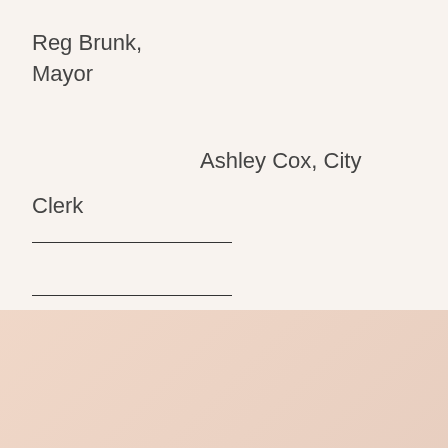Reg Brunk, Mayor
Ashley Cox, City Clerk
Contact Us!
cityofva@casscomm.com
217-452-7786
City of Virginia, County Seat, 153 S. Front Street, Virginia, IL 62691